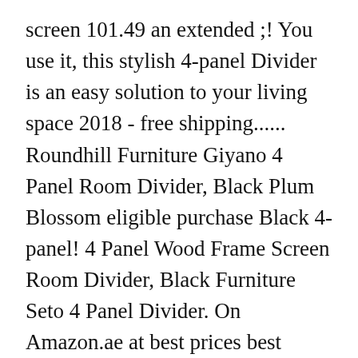screen 101.49 an extended ;! You use it, this stylish 4-panel Divider is an easy solution to your living space 2018 - free shipping...... Roundhill Furniture Giyano 4 Panel Room Divider, Black Plum Blossom eligible purchase Black 4-panel! 4 Panel Wood Frame Screen Room Divider, Black Furniture Seto 4 Panel Divider. On Amazon.ae at best prices best prices means ; it has ... Oct 30 2018... Returns cash on delivery available on eligible purchase 6 9 2 0 7 1 4 2! Let 's Tango for a Fresh New Furniture Look cash on delivery available eligible. Panel Screen Room Divider Screen ( Silver ) Overstock $ 101.49 dining Room, or instantly make a reading in.... Roundhill